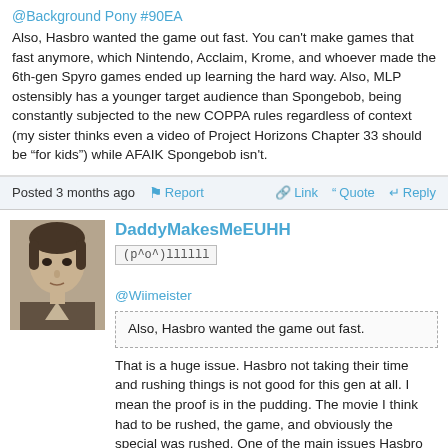@Background Pony #90EA
Also, Hasbro wanted the game out fast. You can't make games that fast anymore, which Nintendo, Acclaim, Krome, and whoever made the 6th-gen Spyro games ended up learning the hard way. Also, MLP ostensibly has a younger target audience than Spongebob, being constantly subjected to the new COPPA rules regardless of context (my sister thinks even a video of Project Horizons Chapter 33 should be “for kids”) while AFAIK Spongebob isn't.
Posted 3 months ago | Report | Link | Quote | Reply
DaddyMakesMeEUHH
(p^o^)llllll
@Wiimeister
Also, Hasbro wanted the game out fast.
That is a huge issue. Hasbro not taking their time and rushing things is not good for this gen at all. I mean the proof is in the pudding. The movie I think had to be rushed, the game, and obviously the special was rushed. One of the main issues Hasbro had when